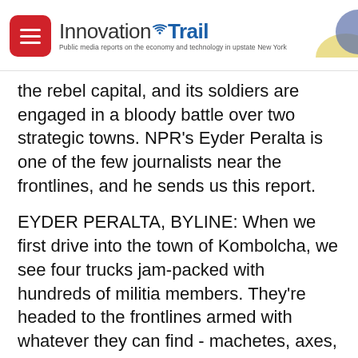InnovationTrail — Public media reports on the economy and technology in upstate New York
the rebel capital, and its soldiers are engaged in a bloody battle over two strategic towns. NPR's Eyder Peralta is one of the few journalists near the frontlines, and he sends us this report.
EYDER PERALTA, BYLINE: When we first drive into the town of Kombolcha, we see four trucks jam-packed with hundreds of militia members. They're headed to the frontlines armed with whatever they can find - machetes, axes, spears, sticks. The signs of war are everywhere here in the Amhara region of Ethiopia. Men walk around with rifles. There are ambulances shuttling the injured. Every once in a while, you feel the low rumble of artillery. People fleeing the violence are sleeping on sidewalks,